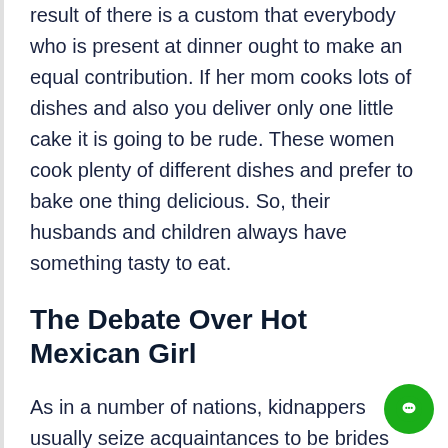result of there is a custom that everybody who is present at dinner ought to make an equal contribution. If her mom cooks lots of dishes and also you deliver only one little cake it is going to be rude. These women cook plenty of different dishes and prefer to bake one thing delicious. So, their husbands and children always have something tasty to eat.
The Debate Over Hot Mexican Girl
As in a number of nations, kidnappers usually seize acquaintances to be brides and completely different cases abduct